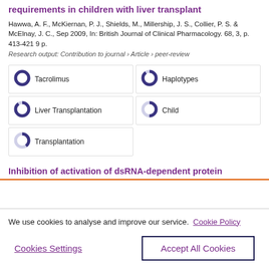requirements in children with liver transplant
Hawwa, A. F., McKiernan, P. J., Shields, M., Millership, J. S., Collier, P. S. & McElnay, J. C., Sep 2009, In: British Journal of Clinical Pharmacology. 68, 3, p. 413-421 9 p.
Research output: Contribution to journal › Article › peer-review
Tacrolimus 100%
Haplotypes 90%
Liver Transplantation 90%
Child 50%
Transplantation 40%
Inhibition of activation of dsRNA-dependent protein
We use cookies to analyse and improve our service. Cookie Policy
Cookies Settings
Accept All Cookies